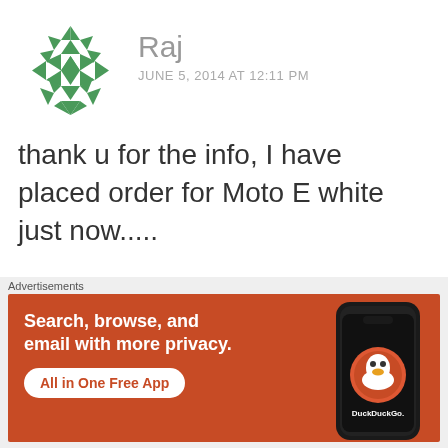[Figure (illustration): Green geometric/quilt pattern circular avatar for user Raj]
Raj
JUNE 5, 2014 AT 12:11 PM
thank u for the info, I have placed order for Moto E white just now.....
Like
REPLY
[Figure (logo): Green Xbox-style logo mark, partially visible, for the next commenter]
Advertisements
[Figure (screenshot): DuckDuckGo advertisement banner on orange/red background with text: Search, browse, and email with more privacy. All in One Free App. Shows a dark smartphone with DuckDuckGo logo.]